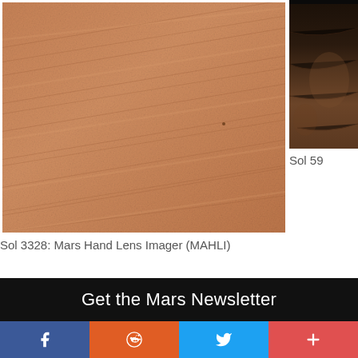[Figure (photo): Close-up photo of Mars sandy/rocky surface texture taken by MAHLI, showing diagonal ripple patterns in reddish-brown soil, Sol 3328]
Sol 3328: Mars Hand Lens Imager (MAHLI)
[Figure (photo): Partial photo of darker Mars rocky surface, partially cropped, associated with Sol 59x]
Sol 59
Get the Mars Newsletter